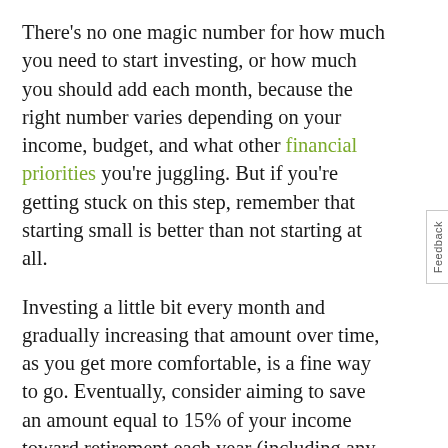There's no one magic number for how much you need to start investing, or how much you should add each month, because the right number varies depending on your income, budget, and what other financial priorities you're juggling. But if you're getting stuck on this step, remember that starting small is better than not starting at all.
Investing a little bit every month and gradually increasing that amount over time, as you get more comfortable, is a fine way to go. Eventually, consider aiming to save an amount equal to 15% of your income toward retirement each year (including any employer match). If you decide to invest in a brokerage account or IRA, consider setting up automatic contributions so you keep investing every month.